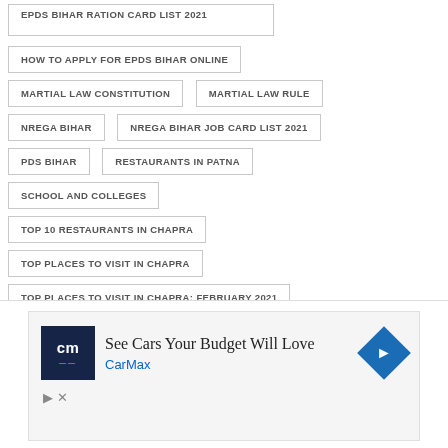EPDS BIHAR RATION CARD LIST 2021
HOW TO APPLY FOR EPDS BIHAR ONLINE
MARTIAL LAW CONSTITUTION
MARTIAL LAW RULE
NREGA BIHAR
NREGA BIHAR JOB CARD LIST 2021
PDS BIHAR
RESTAURANTS IN PATNA
SCHOOL AND COLLEGES
TOP 10 RESTAURANTS IN CHAPRA
TOP PLACES TO VISIT IN CHAPRA
TOP PLACES TO VISIT IN CHAPRA: FEBRUARY 2021
TOP RESTAURANT IN CHAPRA
WEBSITE KAISE BANAYE HINDI 2021
[Figure (other): CarMax advertisement banner: See Cars Your Budget Will Love, with CarMax logo and navigation arrow icon]